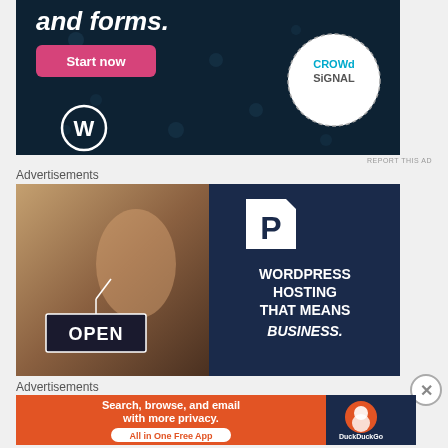[Figure (photo): Advertisement banner for Crowdsignal/WordPress showing dark navy background with 'and forms.' heading, a pink Start now button, WordPress logo, and Crowdsignal circular logo with dashed border]
REPORT THIS AD
Advertisements
[Figure (photo): WordPress Hosting advertisement: left half shows a woman holding an OPEN sign, right half is dark navy with P logo and text 'WORDPRESS HOSTING THAT MEANS BUSINESS.']
Advertisements
[Figure (photo): DuckDuckGo advertisement: orange left side with 'Search, browse, and email with more privacy. All in One Free App' and dark blue right side with DuckDuckGo logo]